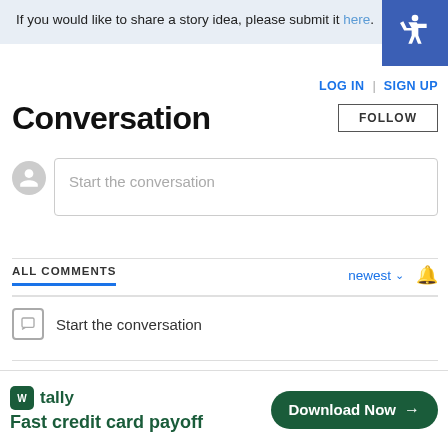If you would like to share a story idea, please submit it here.
[Figure (other): Accessibility icon button (wheelchair symbol on blue background)]
LOG IN | SIGN UP
Conversation
FOLLOW
Start the conversation
ALL COMMENTS
newest
Start the conversation
ADVERTISEMENT
[Figure (infographic): Tally app advertisement banner: logo with 'W tally' and tagline 'Fast credit card payoff' with green Download Now button]